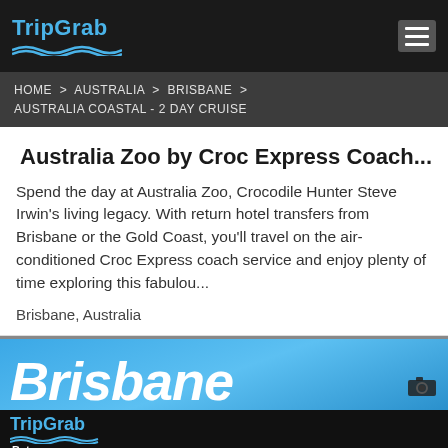TripGrab
HOME > AUSTRALIA > BRISBANE > AUSTRALIA COASTAL - 2 DAY CRUISE
Australia Zoo by Croc Express Coach...
Spend the day at Australia Zoo, Crocodile Hunter Steve Irwin's living legacy. With return hotel transfers from Brisbane or the Gold Coast, you'll travel on the air-conditioned Croc Express coach service and enjoy plenty of time exploring this fabulou...
Brisbane, Australia
[Figure (photo): Brisbane city banner photo with sky background showing large white italic text 'Brisbane']
TripGrab Beta